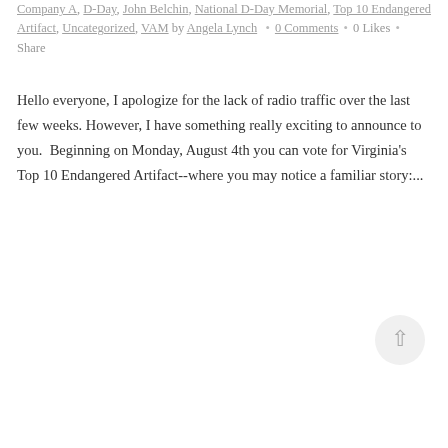Company A, D-Day, John Belchin, National D-Day Memorial, Top 10 Endangered Artifact, Uncategorized, VAM by Angela Lynch • 0 Comments • 0 Likes • Share
Hello everyone, I apologize for the lack of radio traffic over the last few weeks. However, I have something really exciting to announce to you.  Beginning on Monday, August 4th you can vote for Virginia's Top 10 Endangered Artifact--where you may notice a familiar story:...
READ MORE